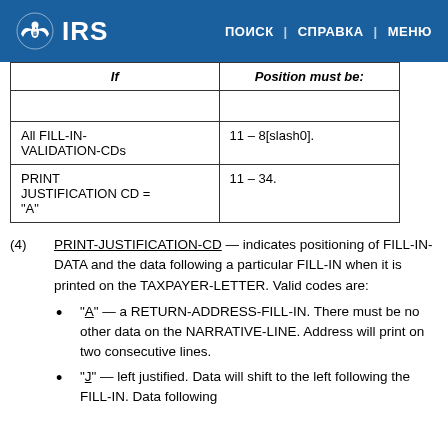IRS | ПОИСК | СПРАВКА | МЕНЮ
| If | Position must be: |
| --- | --- |
|  |  |
| All FILL-IN-VALIDATION-CDs | 11 – 8[slash0]. |
| PRINT JUSTIFICATION CD = "A" | 11 – 34. |
(4) PRINT-JUSTIFICATION-CD — indicates positioning of FILL-IN-DATA and the data following a particular FILL-IN when it is printed on the TAXPAYER-LETTER. Valid codes are:
"A" — a RETURN-ADDRESS-FILL-IN. There must be no other data on the NARRATIVE-LINE. Address will print on two consecutive lines.
"J" — left justified. Data will shift to the left following the FILL-IN. Data following